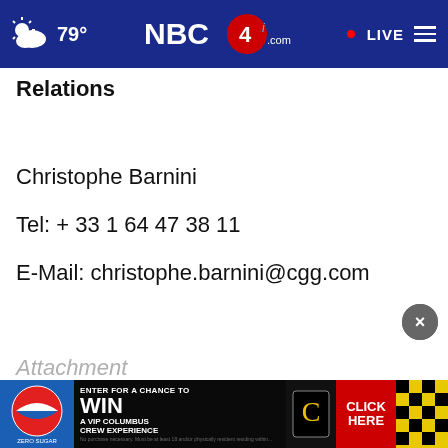NBC4i.com — 79° — LIVE
Relations
Christophe Barnini
Tel: + 33 1 64 47 38 11
E-Mail: christophe.barnini@cgg.com
[Figure (screenshot): Close (X) button overlay]
[Figure (screenshot): Pepsi advertisement banner: ENTER FOR A CHANCE TO WIN A VIP COLUMBUS CREW EXPERIENCE — CLICK HERE]
Attachment